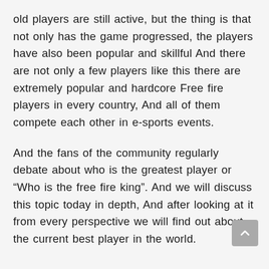old players are still active, but the thing is that not only has the game progressed, the players have also been popular and skillful And there are not only a few players like this there are extremely popular and hardcore Free fire players in every country, And all of them compete each other in e-sports events.
And the fans of the community regularly debate about who is the greatest player or “Who is the free fire king”. And we will discuss this topic today in depth, And after looking at it from every perspective we will find out about the current best player in the world.